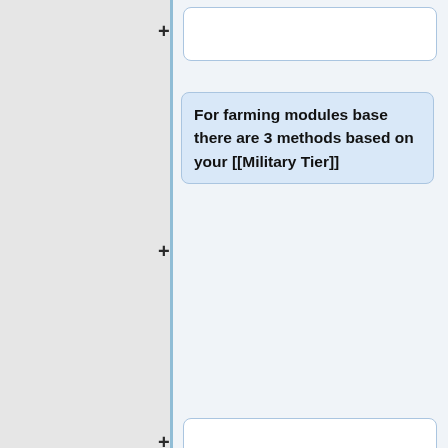[collapsed box at top]
For farming modules base there are 3 methods based on your [[Military Tier]]
[collapsed box middle]
For [[Military Tier]] 0-4 it is best to go to the highest difficulty you can reach on a region and then do tons of short runs to wave 30-50 with every software you have unlocked